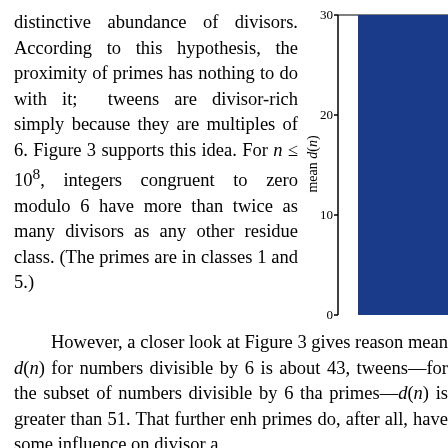distinctive abundance of divisors. According to this hypothesis, the proximity of primes has nothing to do with it; tweens are divisor-rich simply because they are multiples of 6. Figure 3 supports this idea. For n ≤ 10^8, integers congruent to zero modulo 6 have more than twice as many divisors as any other residue class. (The primes are in classes 1 and 5.)
[Figure (bar-chart): Partial bar chart showing y-axis labeled 'mean d(n)' with tick marks at 0, 10, 20, 30. A blue bar is visible at the right edge.]
However, a closer look at Figure 3 gives reason mean d(n) for numbers divisible by 6 is about 43, tweens—for the subset of numbers divisible by 6 tha primes—d(n) is greater than 51. That further enh primes do, after all, have some influence on divisor a
Further evidence comes from another plot of without prime neighbors, but this time limited to in members of the sample population have the same "he